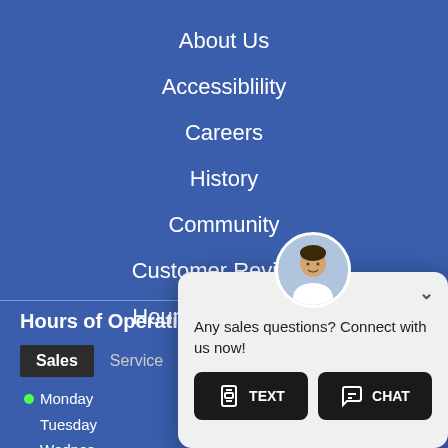About Us
Accessiblility
Careers
History
Community
Customer Reviews
Hours & Directions
Hours of Operation
Sales | Service
Monday
Tuesday
Wednesday
Thursday
Friday
[Figure (screenshot): Chat popup widget with agent avatar, message 'Any sales questions? Connect with us now!' and two buttons: TEXT and CHAT]